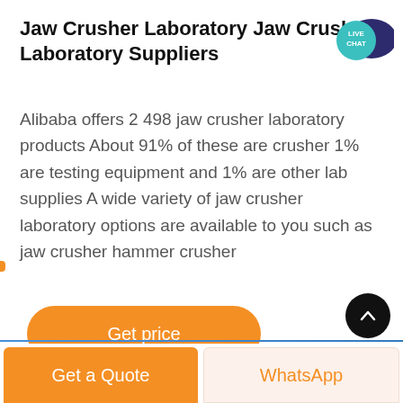Jaw Crusher Laboratory Jaw Crusher Laboratory Suppliers
[Figure (illustration): Live Chat speech bubble icon in teal/dark blue colors with text LIVE CHAT]
Alibaba offers 2 498 jaw crusher laboratory products About 91% of these are crusher 1% are testing equipment and 1% are other lab supplies A wide variety of jaw crusher laboratory options are available to you such as jaw crusher hammer crusher
Get price
[Figure (illustration): Black circular scroll-to-top button with upward chevron arrow]
Get a Quote
WhatsApp